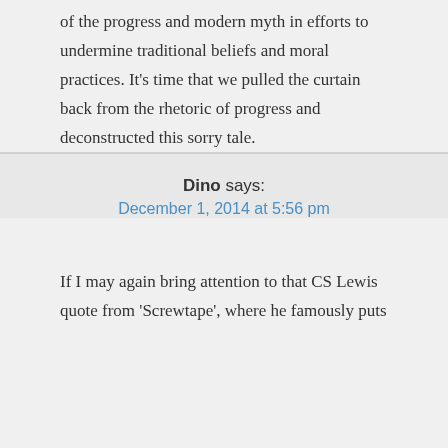of the progress and modern myth in efforts to undermine traditional beliefs and moral practices. It's time that we pulled the curtain back from the rhetoric of progress and deconstructed this sorry tale.
Dino says: December 1, 2014 at 5:56 pm
If I may again bring attention to that CS Lewis quote from 'Screwtape', where he famously puts